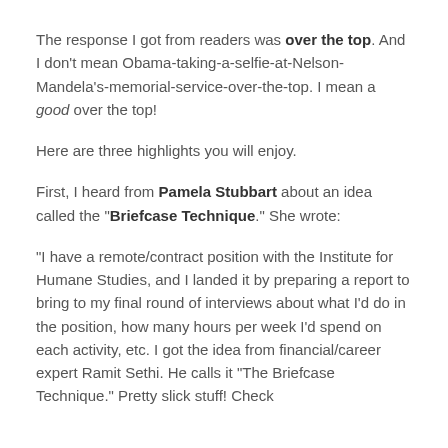The response I got from readers was over the top. And I don't mean Obama-taking-a-selfie-at-Nelson-Mandela's-memorial-service-over-the-top. I mean a good over the top!
Here are three highlights you will enjoy.
First, I heard from Pamela Stubbart about an idea called the "Briefcase Technique." She wrote:
"I have a remote/contract position with the Institute for Humane Studies, and I landed it by preparing a report to bring to my final round of interviews about what I'd do in the position, how many hours per week I'd spend on each activity, etc. I got the idea from financial/career expert Ramit Sethi. He calls it "The Briefcase Technique." Pretty slick stuff! Check